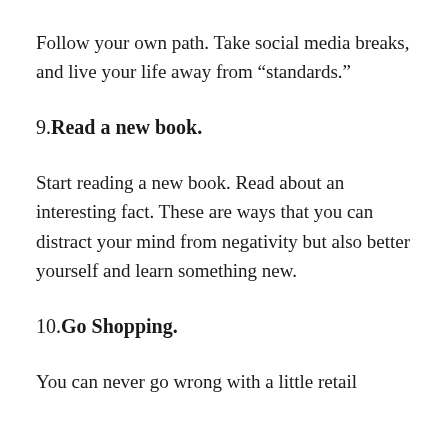Follow your own path. Take social media breaks, and live your life away from “standards.”
9.Read a new book.
Start reading a new book. Read about an interesting fact. These are ways that you can distract your mind from negativity but also better yourself and learn something new.
10.Go Shopping.
You can never go wrong with a little retail